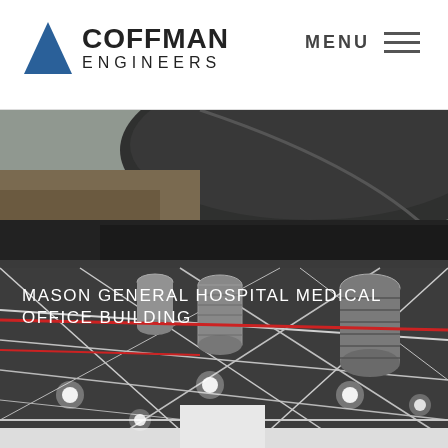[Figure (logo): Coffman Engineers logo with blue triangle and company name]
MENU
[Figure (photo): Two-part composite photo: upper portion shows an aerial view of a building with a curved road and parking area; lower portion shows an interior mechanical ceiling with HVAC ductwork, conduit, structural steel framing, and industrial lighting in a building under construction or recently completed.]
MASON GENERAL HOSPITAL MEDICAL OFFICE BUILDING